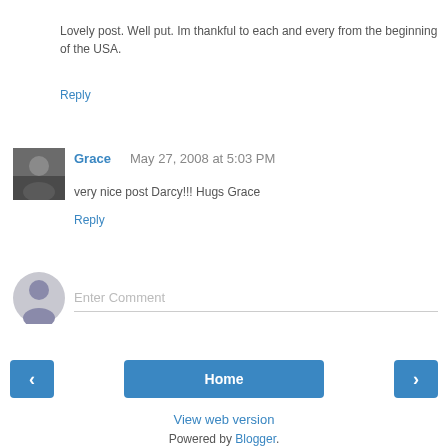Lovely post. Well put. Im thankful to each and every from the beginning of the USA.
Reply
Grace  May 27, 2008 at 5:03 PM
very nice post Darcy!!! Hugs Grace
Reply
[Figure (other): Anonymous user avatar placeholder icon]
Enter Comment
Home
View web version
Powered by Blogger.